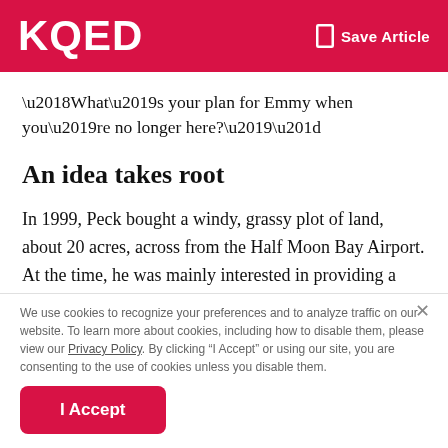KQED  Save Article
‘What’s your plan for Emmy when you’re no longer here?’″
An idea takes root
In 1999, Peck bought a windy, grassy plot of land, about 20 acres, across from the Half Moon Bay Airport. At the time, he was mainly interested in providing a comfortable place for sports, with a little farming on the side.
We use cookies to recognize your preferences and to analyze traffic on our website. To learn more about cookies, including how to disable them, please view our Privacy Policy. By clicking “I Accept” or using our site, you are consenting to the use of cookies unless you disable them.
I Accept